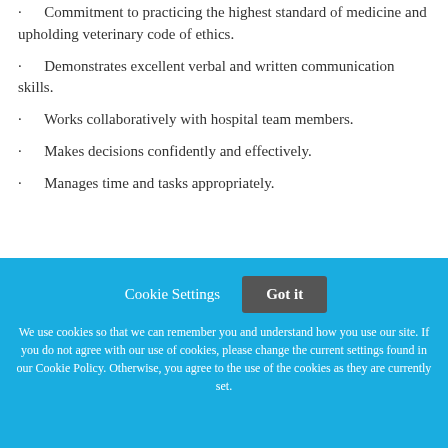· Commitment to practicing the highest standard of medicine and upholding veterinary code of ethics.
· Demonstrates excellent verbal and written communication skills.
· Works collaboratively with hospital team members.
· Makes decisions confidently and effectively.
· Manages time and tasks appropriately.
Cookie Settings  Got it
We use cookies so that we can remember you and understand how you use our site. If you do not agree with our use of cookies, please change the current settings found in our Cookie Policy. Otherwise, you agree to the use of the cookies as they are currently set.